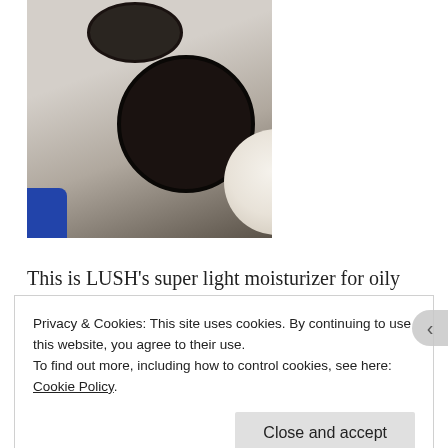[Figure (photo): Photo of two open LUSH cosmetic jars (moisturizer) from above, showing cream-filled open jar and lid, on a light surface with blue corner visible]
This is LUSH’s super light moisturizer for oily and combination skin types. I have pretty dry skin and this
Privacy & Cookies: This site uses cookies. By continuing to use this website, you agree to their use.
To find out more, including how to control cookies, see here: Cookie Policy
Close and accept